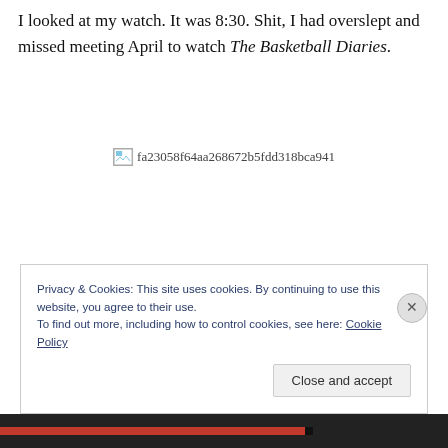I looked at my watch. It was 8:30. Shit, I had overslept and missed meeting April to watch The Basketball Diaries.
[Figure (other): Broken image placeholder with hash filename: fa23058f64aa268672b5fdd318bca941]
Privacy & Cookies: This site uses cookies. By continuing to use this website, you agree to their use.
To find out more, including how to control cookies, see here: Cookie Policy
Close and accept